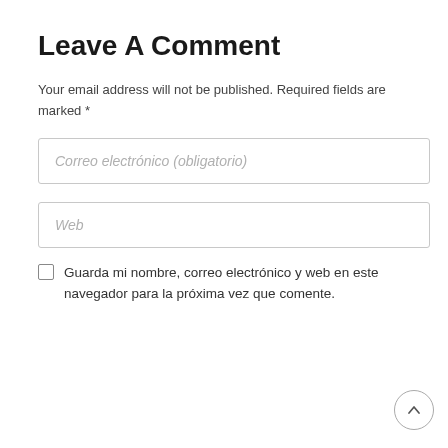Leave A Comment
Your email address will not be published. Required fields are marked *
Correo electrónico (obligatorio)
Web
Guarda mi nombre, correo electrónico y web en este navegador para la próxima vez que comente.